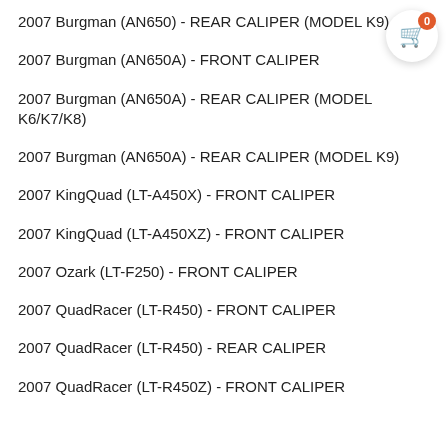2007 Burgman (AN650) - REAR CALIPER (MODEL K9)
2007 Burgman (AN650A) - FRONT CALIPER
2007 Burgman (AN650A) - REAR CALIPER (MODEL K6/K7/K8)
2007 Burgman (AN650A) - REAR CALIPER (MODEL K9)
2007 KingQuad (LT-A450X) - FRONT CALIPER
2007 KingQuad (LT-A450XZ) - FRONT CALIPER
2007 Ozark (LT-F250) - FRONT CALIPER
2007 QuadRacer (LT-R450) - FRONT CALIPER
2007 QuadRacer (LT-R450) - REAR CALIPER
2007 QuadRacer (LT-R450Z) - FRONT CALIPER